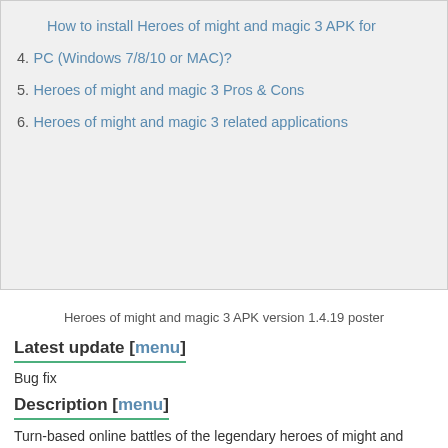How to install Heroes of might and magic 3 APK for
4. PC (Windows 7/8/10 or MAC)?
5. Heroes of might and magic 3 Pros & Cons
6. Heroes of might and magic 3 related applications
Heroes of might and magic 3 APK version 1.4.19 poster
Latest update [menu]
Bug fix
Description [menu]
Turn-based online battles of the legendary heroes of might and magic 3